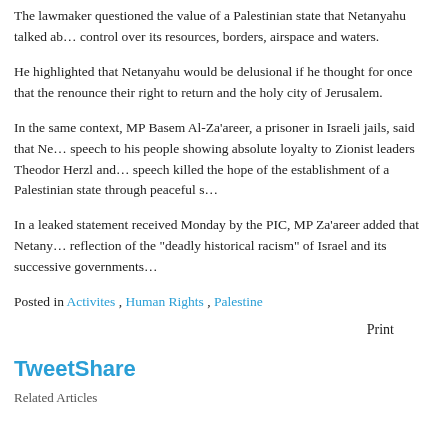The lawmaker questioned the value of a Palestinian state that Netanyahu talked about without control over its resources, borders, airspace and waters.
He highlighted that Netanyahu would be delusional if he thought for once that the Palestinians would renounce their right to return and the holy city of Jerusalem.
In the same context, MP Basem Al-Za'areer, a prisoner in Israeli jails, said that Netanyahu gave a speech to his people showing absolute loyalty to Zionist leaders Theodor Herzl and... speech killed the hope of the establishment of a Palestinian state through peaceful s...
In a leaked statement received Monday by the PIC, MP Za'areer added that Netanyahu's speech is a reflection of the "deadly historical racism" of Israel and its successive governments...
Posted in Activites , Human Rights , Palestine
Print
TweetShare
Related Articles